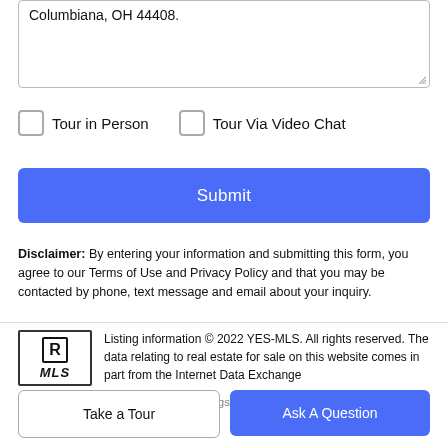Columbiana, OH 44408.
Tour in Person
Tour Via Video Chat
Submit
Disclaimer: By entering your information and submitting this form, you agree to our Terms of Use and Privacy Policy and that you may be contacted by phone, text message and email about your inquiry.
Listing information © 2022 YES-MLS. All rights reserved. The data relating to real estate for sale on this website comes in part from the Internet Data Exchange program of YES-MLS. Real estate listings held by brokerage firms and
Take a Tour
Ask A Question